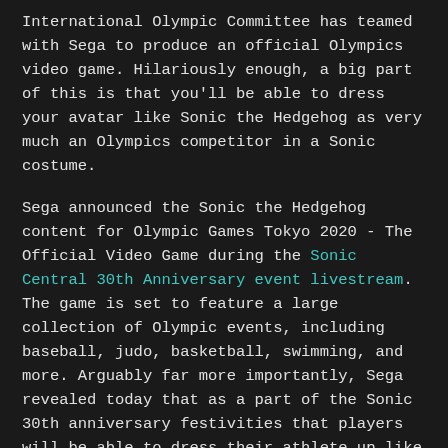International Olympic Committee has teamed with Sega to produce an official Olympics video game. Hilariously enough, a big part of this is that you'll be able to dress your avatar like Sonic the Hedgehog as very much an Olympics competitor in a Sonic costume.
Sega announced the Sonic the Hedgehog content for Olympic Games Tokyo 2020 - The Official Video Game during the Sonic Central 30th Anniversary event livestream. The game is set to feature a large collection of Olympic events, including baseball, judo, basketball, swimming, and more. Arguably far more importantly, Sega revealed today that as a part of the Sonic 30th anniversary festivities that players will be able to dress their athlete up like Sonic. Let me repeat: You don't get to be Sonic. You get to be a human athlete dressed as Sonic... competing in the Olympics. Behold.